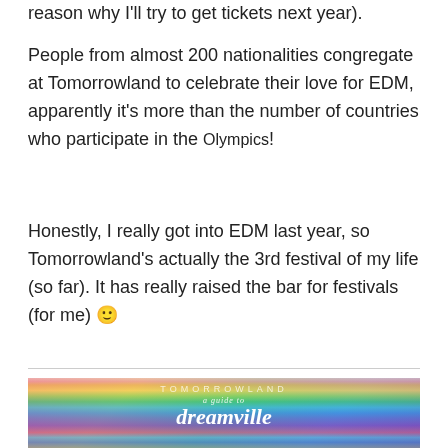reason why I'll try to get tickets next year).
People from almost 200 nationalities congregate at Tomorrowland to celebrate their love for EDM, apparently it's more than the number of countries who participate in the Olympics!
Honestly, I really got into EDM last year, so Tomorrowland's actually the 3rd festival of my life (so far). It has really raised the bar for festivals (for me) 🙂
[Figure (photo): Photo of Tomorrowland festival entrance with a large rainbow arch structure. Text overlay reads 'TOMORROWLAND' in spaced letters at top and 'a guide to dreamville' in script font below.]